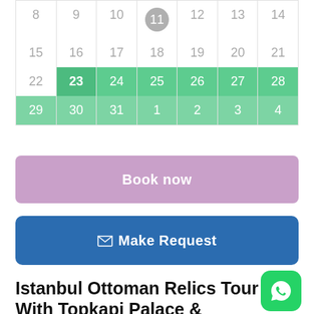| 8 | 9 | 10 | 11 | 12 | 13 | 14 |
| 15 | 16 | 17 | 18 | 19 | 20 | 21 |
| 22 | 23 | 24 | 25 | 26 | 27 | 28 |
| 29 | 30 | 31 | 1 | 2 | 3 | 4 |
Book now
Make Request
Istanbul Ottoman Relics Tour With Topkapi Palace & Sultans Tombs